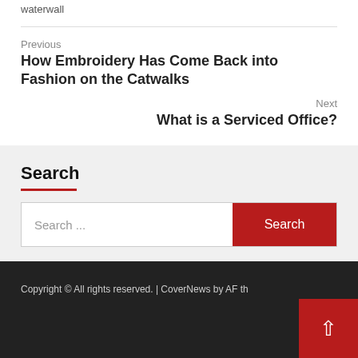waterwall
Previous
How Embroidery Has Come Back into Fashion on the Catwalks
Next
What is a Serviced Office?
Search
Search ...
Copyright © All rights reserved. | CoverNews by AF th